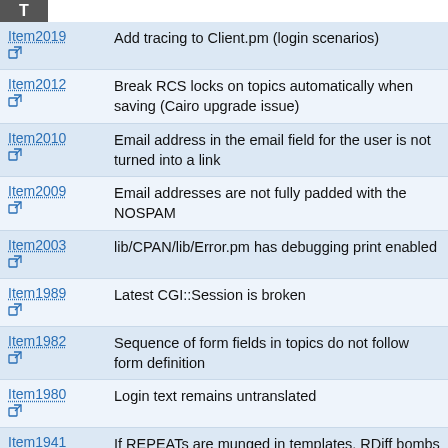| Item | Description |
| --- | --- |
| Item2019 | Add tracing to Client.pm (login scenarios) |
| Item2012 | Break RCS locks on topics automatically when saving (Cairo upgrade issue) |
| Item2010 | Email address in the email field for the user is not turned into a link |
| Item2009 | Email addresses are not fully padded with the NOSPAM |
| Item2003 | lib/CPAN/lib/Error.pm has debugging print enabled |
| Item1989 | Latest CGI::Session is broken |
| Item1982 | Sequence of form fields in topics do not follow form definition |
| Item1980 | Login text remains untranslated |
| Item1941 | If REPEATs are munged in templates, RDiff bombs out |
| Item1939 | Inconsistent handling of non-wikiword topic names when creating new topic |